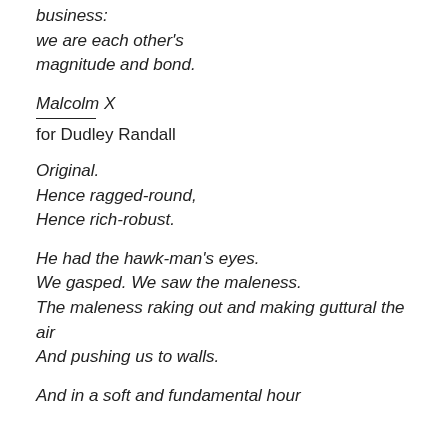business:
we are each other's
magnitude and bond.
Malcolm X
for Dudley Randall
Original.
Hence ragged-round,
Hence rich-robust.
He had the hawk-man's eyes.
We gasped. We saw the maleness.
The maleness raking out and making guttural the air
And pushing us to walls.
And in a soft and fundamental hour